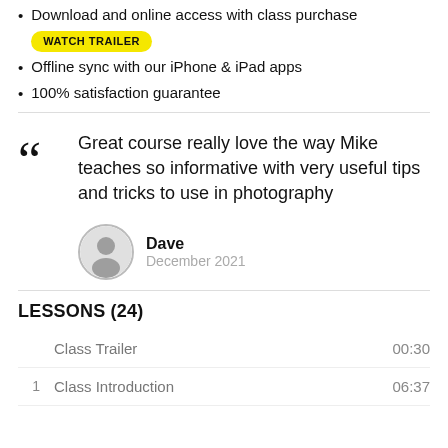Download and online access with class purchase  WATCH TRAILER
Offline sync with our iPhone & iPad apps
100% satisfaction guarantee
Great course really love the way Mike teaches so informative with very useful tips and tricks to use in photography
Dave
December 2021
LESSONS (24)
Class Trailer  00:30
1  Class Introduction  06:37